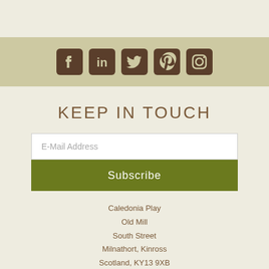[Figure (other): Social media icons bar: Facebook, LinkedIn, Twitter, Pinterest, Instagram icons in olive/khaki background]
KEEP IN TOUCH
E-Mail Address
Subscribe
Caledonia Play
Old Mill
South Street
Milnathort, Kinross
Scotland, KY13 9XB
E: info@caledoniaplay.com